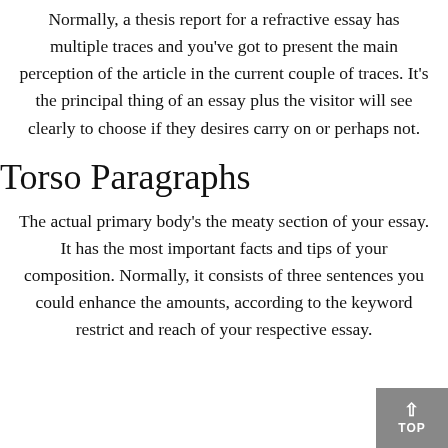Normally, a thesis report for a refractive essay has multiple traces and you've got to present the main perception of the article in the current couple of traces. It's the principal thing of an essay plus the visitor will see clearly to choose if they desires carry on or perhaps not.
Torso Paragraphs
The actual primary body's the meaty section of your essay. It has the most important facts and tips of your composition. Normally, it consists of three sentences you could enhance the amounts, according to the keyword restrict and reach of your respective essay.